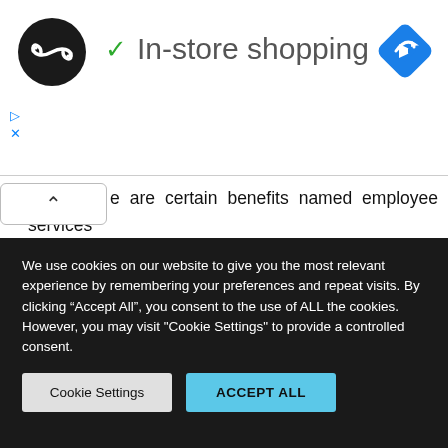[Figure (logo): Black circular logo with white infinity-like double arrow symbol, and navigation diamond icon in blue on the right]
In-store shopping
e are certain benefits named employee services that are offered by the organization. These benefits are as follows.
Relocation Benefits
Child Care
We use cookies on our website to give you the most relevant experience by remembering your preferences and repeat visits. By clicking “Accept All”, you consent to the use of ALL the cookies. However, you may visit "Cookie Settings" to provide a controlled consent.